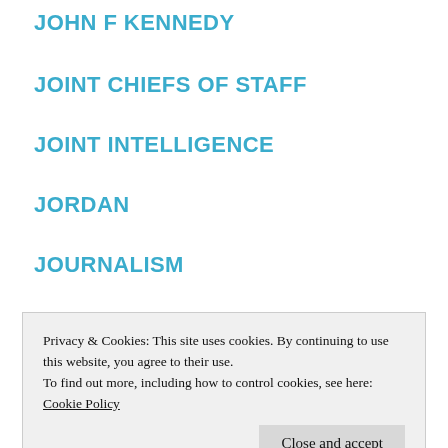JOHN F KENNEDY
JOINT CHIEFS OF STAFF
JOINT INTELLIGENCE
JORDAN
JOURNALISM
JUSTICE
KARSTEN TRAMPE
KAZAKHSTAN
KENYA
Privacy & Cookies: This site uses cookies. By continuing to use this website, you agree to their use.
To find out more, including how to control cookies, see here: Cookie Policy
KGB SPIES